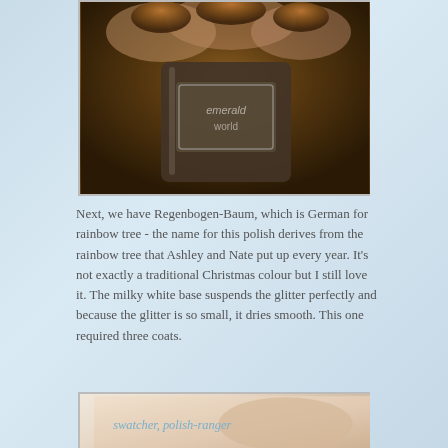[Figure (photo): Close-up photo of a hand holding a dark bronze/brown glitter nail polish bottle with 'emerald' branding visible on the label. The nails are painted with the same dark metallic bronze glitter polish.]
Next, we have Regenbogen-Baum, which is German for rainbow tree - the name for this polish derives from the rainbow tree that Ashley and Nate put up every year. It's not exactly a traditional Christmas colour but I still love it. The milky white base suspends the glitter perfectly and because the glitter is so small, it dries smooth. This one required three coats.
[Figure (photo): Bottom portion of a photo showing fingers with nail polish, with text 'swatcher, polish-ranger' watermark in light blue.]